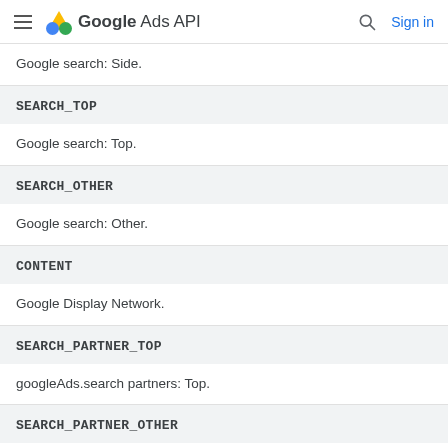Google Ads API
Google search: Side.
SEARCH_TOP
Google search: Top.
SEARCH_OTHER
Google search: Other.
CONTENT
Google Display Network.
SEARCH_PARTNER_TOP
googleAds.search partners: Top.
SEARCH_PARTNER_OTHER
googleAds.search partners: Other.